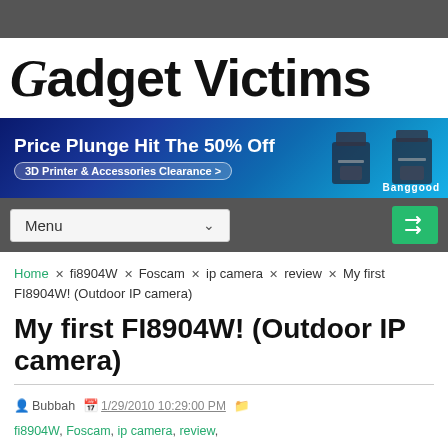[Figure (logo): Gadget Victims website logo in large bold black text with stylized green circuit-board letter G]
[Figure (infographic): Banggood advertisement banner: Price Plunge Hit The 50% Off, 3D Printer & Accessories Clearance >, with blue space background and 3D printer images]
[Figure (screenshot): Navigation bar with Menu dropdown and green shuffle button]
Home x fi8904W x Foscam x ip camera x review x My first FI8904W! (Outdoor IP camera)
My first FI8904W! (Outdoor IP camera)
Bubbah  1/29/2010 10:29:00 PM  fi8904W, Foscam, ip camera, review,